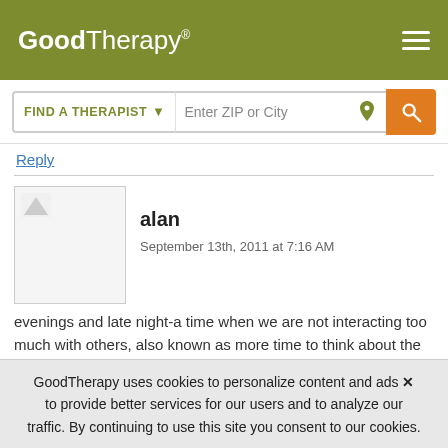GoodTherapy® [navigation header with logo and hamburger menu]
[Figure (screenshot): GoodTherapy website search bar with 'FIND A THERAPIST' dropdown and 'Enter ZIP or City' input field with orange search button]
Reply
alan
September 13th, 2011 at 7:16 AM
evenings and late night-a time when we are not interacting too much with others, also known as more time to think about the depressive things. I'm not surprised these thoughts have an effect on sleep either.
GoodTherapy uses cookies to personalize content and ads to provide better services for our users and to analyze our traffic. By continuing to use this site you consent to our cookies.